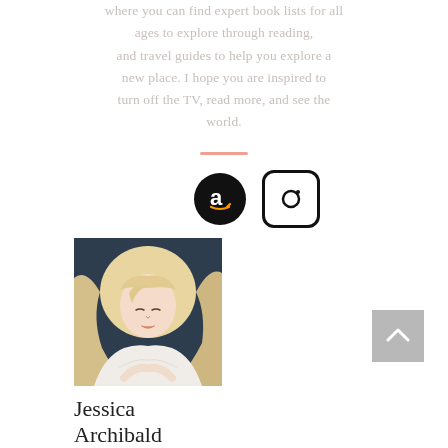where you can find expert book lists for all ages to explore through reading, and travel guides to help you explore a new place. I hope you are inspired to turn off the TV, read more, and see the world.
[Figure (other): Horizontal salmon/pink divider line]
[Figure (other): Amazon logo (white 'a' with arrow on black circle) and Instagram logo (camera outline in rounded square)]
[Figure (photo): A woman with long blonde wavy hair wearing a white fuzzy sweater, photographed against a dark blue-grey background, looking down]
[Figure (other): Grey back-to-top button with white upward chevron arrow]
Jessica Archibald